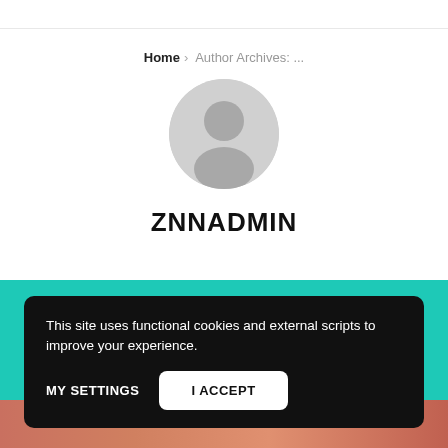Home › Author Archives: ...
[Figure (illustration): Default grey avatar/profile icon circle with person silhouette]
ZNNADMIN
This site uses functional cookies and external scripts to improve your experience.
MY SETTINGS
I ACCEPT
[Figure (photo): Partial photo strip visible at bottom of page]